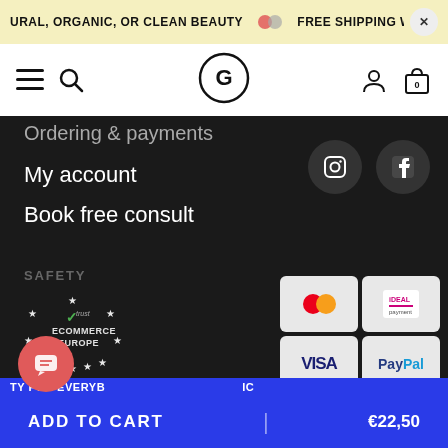URAL, ORGANIC, OR CLEAN BEAUTY  FREE SHIPPING WITHI
[Figure (screenshot): Website navigation bar with hamburger menu, search icon, G logo, user icon, and shopping bag icon]
Ordering & payments
My account
Book free consult
[Figure (illustration): Instagram and Facebook social media icons in dark circles]
SAFETY
[Figure (logo): Trusted Ecommerce Europe logo with stars]
[Figure (illustration): Payment method icons: Mastercard, iDEAL, VISA, PayPal, Klarna, and another payment method]
Terms and conditions
Privacy policy
Language:  English – Nederlands
[Figure (illustration): Red circular chat button with message icon]
ADD TO CART  |  €22,50
TY FOR EVERYB...IC